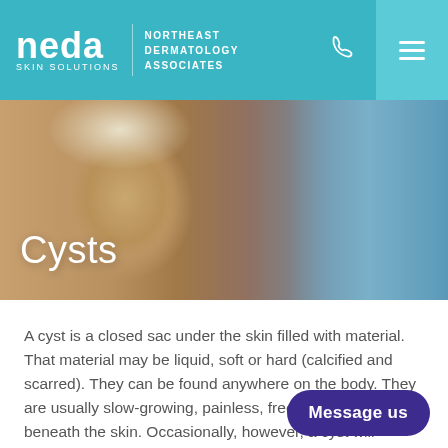neda SKIN SOLUTIONS | NORTHEAST DERMATOLOGY ASSOCIATES
[Figure (photo): Close-up photo of an older woman with blonde hair looking concerned, with another person partially visible in the background on the right.]
Cysts
A cyst is a closed sac under the skin filled with material. That material may be liquid, soft or hard (calcified and scarred). They can be found anywhere on the body. They are usually slow-growing, painless, freely movable lumps beneath the skin. Occasionally, however, a cyst will become inflamed and tender.
When treatment is desired, cysts are usually easily